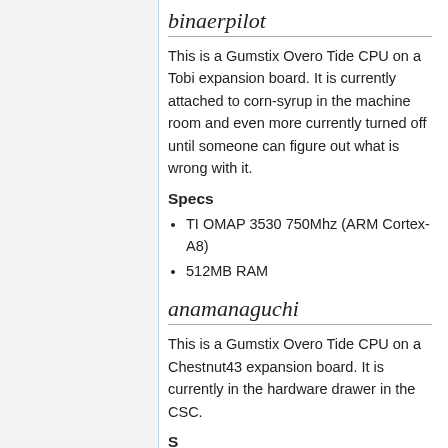binaerpilot
This is a Gumstix Overo Tide CPU on a Tobi expansion board. It is currently attached to corn-syrup in the machine room and even more currently turned off until someone can figure out what is wrong with it.
Specs
TI OMAP 3530 750Mhz (ARM Cortex-A8)
512MB RAM
anamanaguchi
This is a Gumstix Overo Tide CPU on a Chestnut43 expansion board. It is currently in the hardware drawer in the CSC.
S